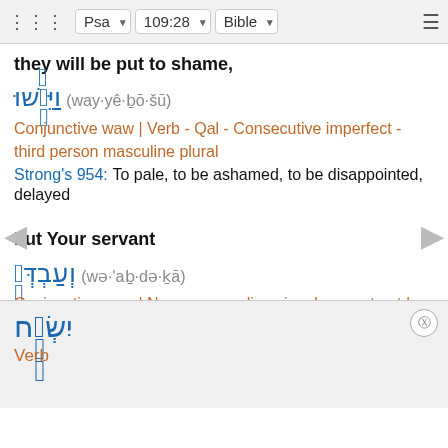Psa | 109:28 | Bible
they will be put to shame,
וַיֵּבֹשׁוּ (way·yê·ḇō·šū)
Conjunctive waw | Verb - Qal - Consecutive imperfect - third person masculine plural
Strong's 954: To pale, to be ashamed, to be disappointed, delayed
but Your servant
וְעַבְדְּךָ (wə·'aḇ·də·ḵā)
Conjunctive waw | Noun - masculine singular construct | second person masculine singular
Strong's 5650: Slave, servant
will rejoice.
יִשְׂמָח
Verb